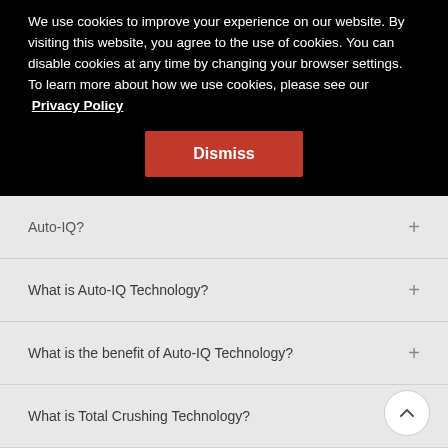We use cookies to improve your experience on our website. By visiting this website, you agree to the use of cookies. You can disable cookies at any time by changing your browser settings. To learn more about how we use cookies, please see our Privacy Policy
Dismiss
Auto-IQ?
What is Auto-IQ Technology?
What is the benefit of Auto-IQ Technology?
What is Total Crushing Technology?
What is Nutrient & Vitamin Extraction?